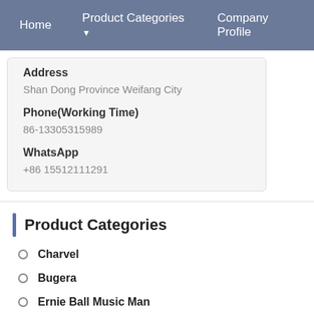Home   Product Categories ▼   Company Profile
Address
Shan Dong Province Weifang City
Phone(Working Time)
86-13305315989
WhatsApp
+86 15512111291
Product Categories
Charvel
Bugera
Ernie Ball Music Man